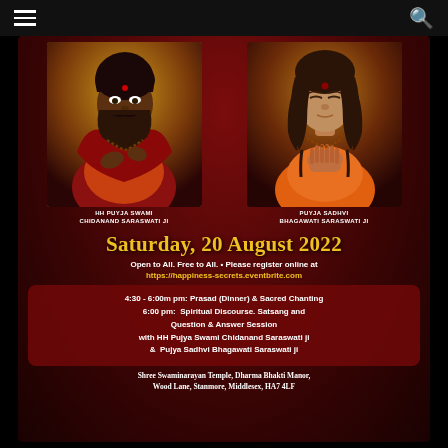☰ [navigation] 🔍 [search]
[Figure (photo): Two spiritual figures: HH Puyja Swami Chidanand Saraswati Ji on the left in red/orange robes with prayer gesture, and Puyja Sadhvi Bhagawati Saraswati Ji on the right in orange robes with hands in namaste pose, against a dark red background.]
HH PUYJA SWAMI CHIDANAND SARASWATI JI
PUYJA SADHVI BHAGAWATI SARASWATI JI
Saturday, 20 August 2022
Open to All. Free to All. • Please register online at https://happiness-secrets.eventbrite.com
4:30 - 6:00m pm: Prasad (Dinner) & Sacred Chanting
6:00 pm: Spiritual Discourse. Satsang and Question & Answer Session
with HH Pujya Swami Chidanand Saraswati ji
& Pujya Sadhvi Bhagawati Saraswati ji
Shree Swaminarayan Temple, Dharma Bhakti Manor, Wood Lane, Stanmore, Middlesex, HA7 4LF